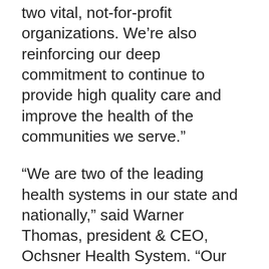two vital, not-for-profit organizations. We’re also reinforcing our deep commitment to continue to provide high quality care and improve the health of the communities we serve.”
“We are two of the leading health systems in our state and nationally,” said Warner Thomas, president & CEO, Ochsner Health System. “Our opportunity, and in fact responsibility, is to work even more closely together and do more to expand, innovate and improve health care in our region.”